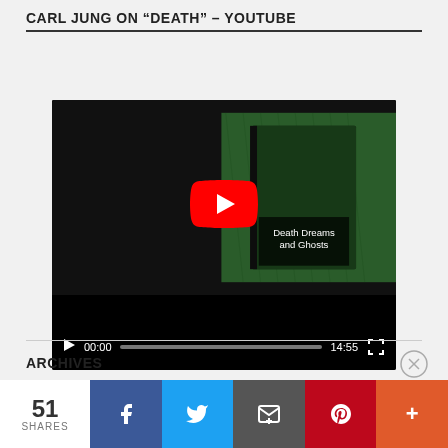CARL JUNG ON "DEATH" – YOUTUBE
[Figure (screenshot): YouTube video player screenshot showing 'Carl Jung on Death' video with a book cover 'Death Dreams and Ghosts' visible. Play button overlay in center. Video controls show time 00:00 and duration 14:55.]
ARCHIVES
Advertisements
51 SHARES